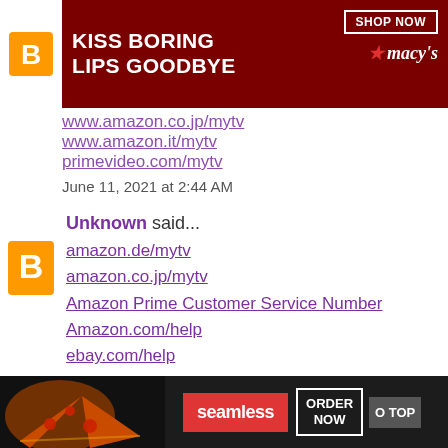[Figure (photo): Advertisement banner: Macy's lipstick ad with text KISS BORING LIPS GOODBYE, woman's face with red lips, SHOP NOW button and Macy's logo on dark red background]
www.amazon.co.jp/mytv
www.amazon.it/mytv
primevideo.com/mytv
June 11, 2021 at 2:44 AM
Unknown said...
amazon.de/mytv
amazon.co.jp/mytv
Amazon Prime Customer Service Number
Amazon.com/help
ebay.com/help
Devotional Songs
June 11, 2021 at 2:44 AM
[Figure (photo): Bottom advertisement banner: Seamless food delivery ad with pizza image, red Seamless logo, ORDER NOW button, and CLOSE / GO TO TOP buttons]